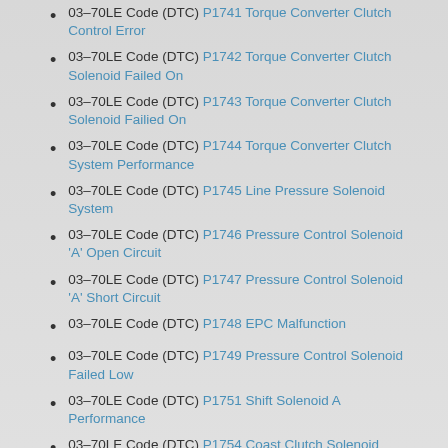03-70LE Code (DTC) P1741 Torque Converter Clutch Control Error
03-70LE Code (DTC) P1742 Torque Converter Clutch Solenoid Failed On
03-70LE Code (DTC) P1743 Torque Converter Clutch Solenoid Failied On
03-70LE Code (DTC) P1744 Torque Converter Clutch System Performance
03-70LE Code (DTC) P1745 Line Pressure Solenoid System
03-70LE Code (DTC) P1746 Pressure Control Solenoid 'A' Open Circuit
03-70LE Code (DTC) P1747 Pressure Control Solenoid 'A' Short Circuit
03-70LE Code (DTC) P1748 EPC Malfunction
03-70LE Code (DTC) P1749 Pressure Control Solenoid Failed Low
03-70LE Code (DTC) P1751 Shift Solenoid A Performance
03-70LE Code (DTC) P1754 Coast Clutch Solenoid Circuit Malfunction
03-70LE Code (DTC) P1755 Intermediate Speed Sensor (ISS) Malfunction